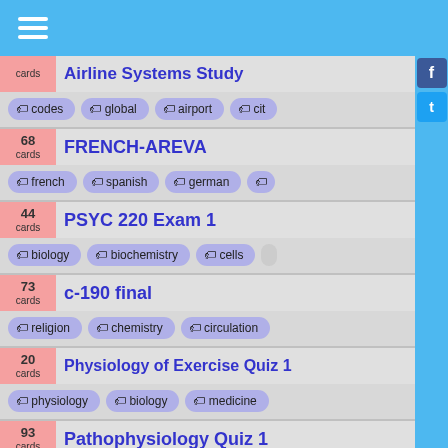Airline Systems Study — cards: codes, global, airport, cit
68 cards — FRENCH-AREVA — tags: french, spanish, german
44 cards — PSYC 220 Exam 1 — tags: biology, biochemistry, cells
73 cards — c-190 final — tags: religion, chemistry, circulation
20 cards — Physiology of Exercise Quiz 1 — tags: physiology, biology, medicine
93 cards — Pathophysiology Quiz 1 — tags: biology, cell, genetics, p
287 cards — martm006 — tags: biology, medicine, biochemistry